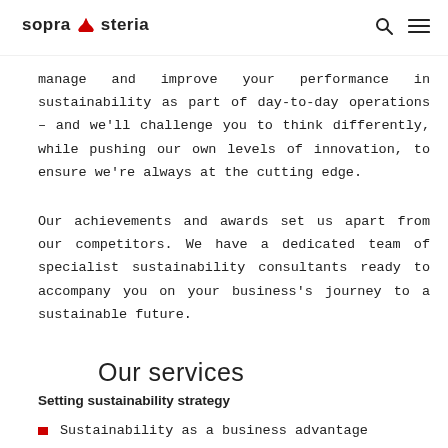sopra steria
manage and improve your performance in sustainability as part of day-to-day operations – and we'll challenge you to think differently, while pushing our own levels of innovation, to ensure we're always at the cutting edge.
Our achievements and awards set us apart from our competitors. We have a dedicated team of specialist sustainability consultants ready to accompany you on your business's journey to a sustainable future.
Our services
Setting sustainability strategy
Sustainability as a business advantage